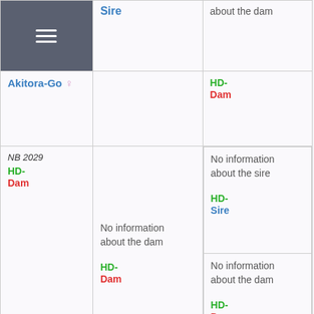|  | Sire | about the dam |
| Akitora-Go ♀ |  | HD-
Dam |
| NB 2029
HD-
Dam | No information about the dam

HD-
Dam | No information about the sire

HD-
Sire

No information about the dam

HD-
Dam |